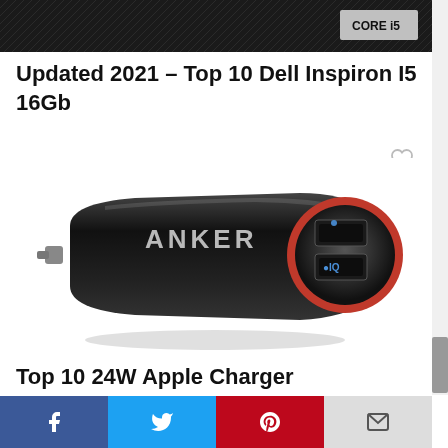[Figure (photo): Cropped top of a dark laptop/device showing Intel Core i5 badge]
Updated 2021 – Top 10 Dell Inspiron I5 16Gb
[Figure (photo): Anker dual USB car charger, black body with red ring and IQ branding on the front face]
Top 10 24W Apple Charger
Facebook | Twitter | Pinterest | Email